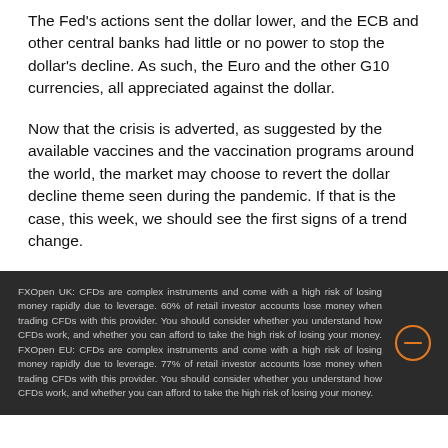The Fed’s actions sent the dollar lower, and the ECB and other central banks had little or no power to stop the dollar’s decline. As such, the Euro and the other G10 currencies, all appreciated against the dollar.
Now that the crisis is adverted, as suggested by the available vaccines and the vaccination programs around the world, the market may choose to revert the dollar decline theme seen during the pandemic. If that is the case, this week, we should see the first signs of a trend change.
FXOpen UK: CFDs are complex instruments and come with a high risk of losing money rapidly due to leverage. 60% of retail investor accounts lose money when trading CFDs with this provider. You should consider whether you understand how CFDs work, and whether you can afford to take the high risk of losing your money. FXOpen EU: CFDs are complex instruments and come with a high risk of losing money rapidly due to leverage. 77% of retail investor accounts lose money when trading CFDs with this provider. You should consider whether you understand how CFDs work, and whether you can afford to take the high risk of losing your money.